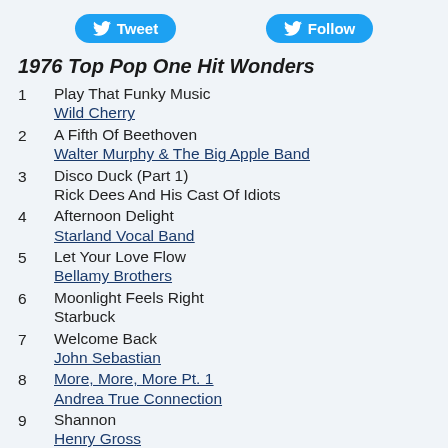Tweet | Follow
1976 Top Pop One Hit Wonders
1  Play That Funky Music
Wild Cherry
2  A Fifth Of Beethoven
Walter Murphy & The Big Apple Band
3  Disco Duck (Part 1)
Rick Dees And His Cast Of Idiots
4  Afternoon Delight
Starland Vocal Band
5  Let Your Love Flow
Bellamy Brothers
6  Moonlight Feels Right
Starbuck
7  Welcome Back
John Sebastian
8  More, More, More Pt. 1
Andrea True Connection
9  Shannon
Henry Gross
10  Fooled Around And Fell In Love
Elvin Bishop
11  Turn The Beat Around